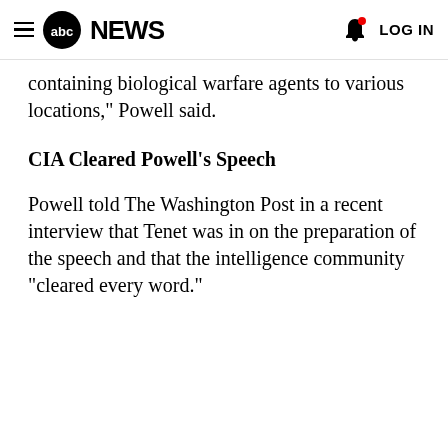abc NEWS  LOG IN
containing biological warfare agents to various locations," Powell said.
CIA Cleared Powell's Speech
Powell told The Washington Post in a recent interview that Tenet was in on the preparation of the speech and that the intelligence community "cleared every word."